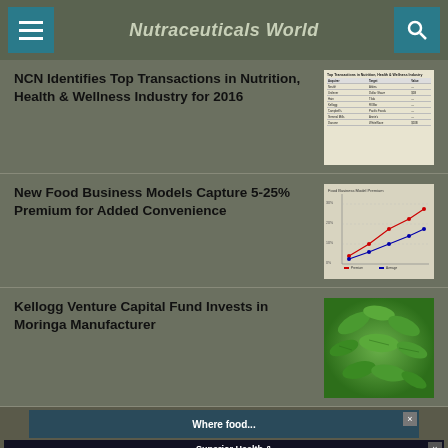Nutraceuticals World
NCN Identifies Top Transactions in Nutrition, Health & Wellness Industry for 2016
[Figure (table-as-image): Table listing top transactions in Nutrition, Health & Wellness industry for 2016]
New Food Business Models Capture 5-25% Premium for Added Convenience
[Figure (line-chart): Line chart showing food business model premium pricing data]
Kellogg Venture Capital Fund Invests in Moringa Manufacturer
[Figure (photo): Photo of moringa leaves]
[Figure (infographic): Advertisement banner: Where food... Superior Health & Brain Nootropic - Sabroxy by Enovatis / Omcad Thymoq]